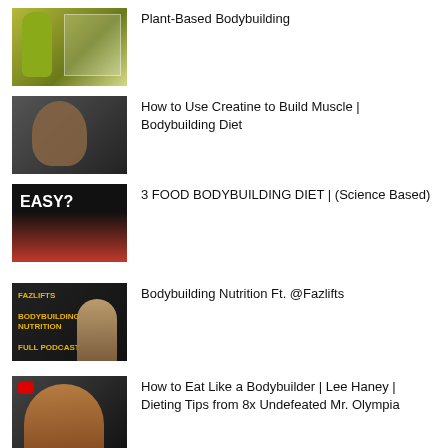Plant-Based Bodybuilding
How to Use Creatine to Build Muscle | Bodybuilding Diet
3 FOOD BODYBUILDING DIET | (Science Based)
Bodybuilding Nutrition Ft. @Fazlifts
How to Eat Like a Bodybuilder | Lee Haney | Dieting Tips from 8x Undefeated Mr. Olympia